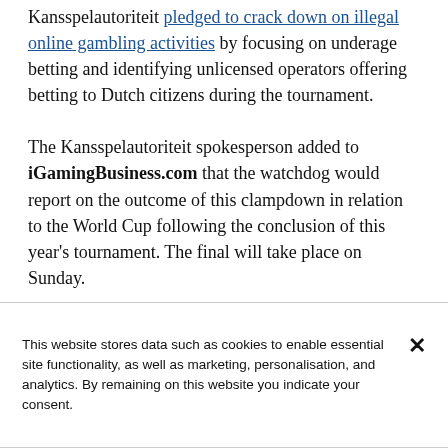Kansspelautoriteit pledged to crack down on illegal online gambling activities by focusing on underage betting and identifying unlicensed operators offering betting to Dutch citizens during the tournament.
The Kansspelautoriteit spokesperson added to iGamingBusiness.com that the watchdog would report on the outcome of this clampdown in relation to the World Cup following the conclusion of this year's tournament. The final will take place on Sunday.
[Figure (photo): Partial advertisement image with orange to dark gradient background and 'Delasport' logo text visible on the right side]
This website stores data such as cookies to enable essential site functionality, as well as marketing, personalisation, and analytics. By remaining on this website you indicate your consent.